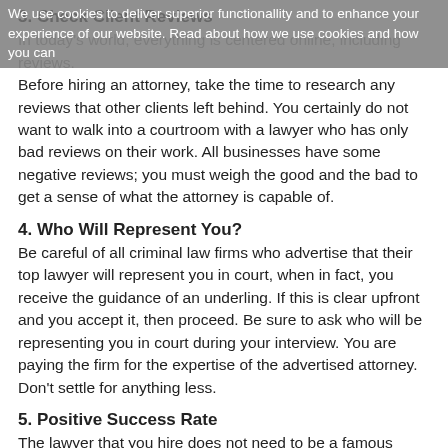3. Check Client Reviews
We use cookies to deliver superior functionallity and to enhance your experience of our website. Read about how we use cookies and how you can
In today's world, everything is centered online, including reviews. Before hiring an attorney, take the time to research any reviews that other clients left behind. You certainly do not want to walk into a courtroom with a lawyer who has only bad reviews on their work. All businesses have some negative reviews; you must weigh the good and the bad to get a sense of what the attorney is capable of.
4. Who Will Represent You?
Be careful of all criminal law firms who advertise that their top lawyer will represent you in court, when in fact, you receive the guidance of an underling. If this is clear upfront and you accept it, then proceed. Be sure to ask who will be representing you in court during your interview. You are paying the firm for the expertise of the advertised attorney. Don't settle for anything less.
5. Positive Success Rate
The lawyer that you hire does not need to be a famous attorney like Perry Mason who never lost a case on TV. They need, however, to have a success rate that makes you feel confident they can handle your case. When interviewing with lawyers, feel